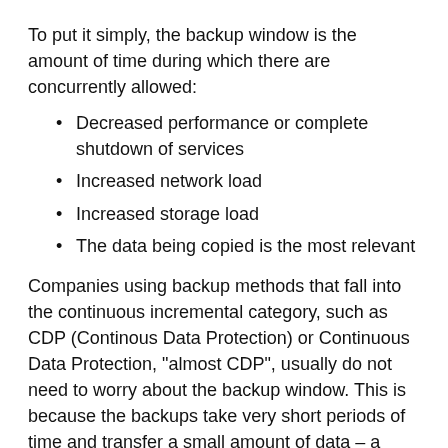To put it simply, the backup window is the amount of time during which there are concurrently allowed:
Decreased performance or complete shutdown of services
Increased network load
Increased storage load
The data being copied is the most relevant
Companies using backup methods that fall into the continuous incremental category, such as CDP (Continous Data Protection) or Continuous Data Protection, "almost CDP", usually do not need to worry about the backup window. This is because the backups take very short periods of time and transfer a small amount of data – a process that usually has a very low impact on the performance of the underlying systems. This is also not uncommon in the newest, optimally